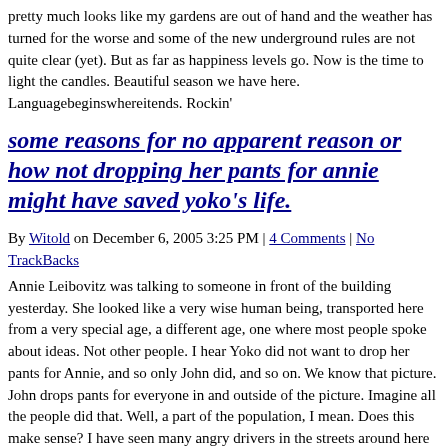pretty much looks like my gardens are out of hand and the weather has turned for the worse and some of the new underground rules are not quite clear (yet). But as far as happiness levels go. Now is the time to light the candles. Beautiful season we have here. Languagebeginswhereitends. Rockin'
some reasons for no apparent reason or how not dropping her pants for annie might have saved yoko's life.
By Witold on December 6, 2005 3:25 PM | 4 Comments | No TrackBacks
Annie Leibovitz was talking to someone in front of the building yesterday. She looked like a very wise human being, transported here from a very special age, a different age, one where most people spoke about ideas. Not other people. I hear Yoko did not want to drop her pants for Annie, and so only John did, and so on. We know that picture. John drops pants for everyone in and outside of the picture. Imagine all the people did that. Well, a part of the population, I mean. Does this make sense? I have seen many angry drivers in the streets around here recently. And there have been near misses in person to person encounters on the sidewalk as well. Somebody nearly hit my temple with their cane yesterday. A bag was pushed into my face. Track work on the B line would need a